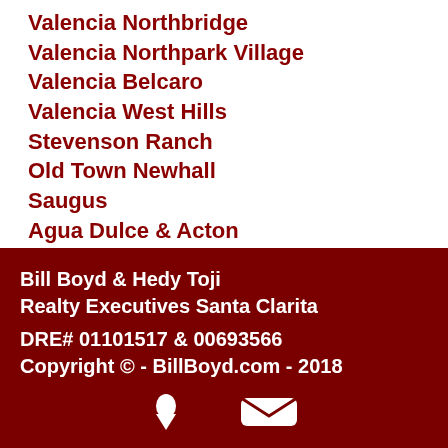Valencia Northbridge
Valencia Northpark Village
Valencia Belcaro
Valencia West Hills
Stevenson Ranch
Old Town Newhall
Saugus
Agua Dulce & Acton
Sand Canyon
Castaic Lake
Bill Boyd & Hedy Toji
Realty Executives Santa Clarita
DRE# 01101517 & 00693566
Copyright © - BillBoyd.com - 2018